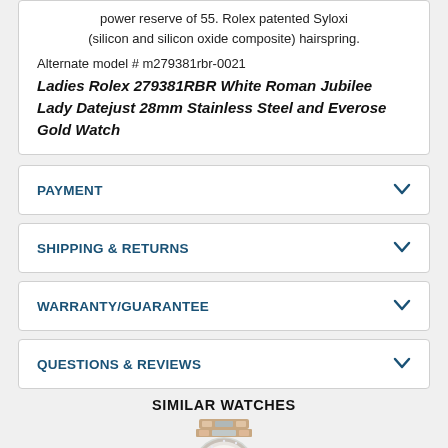power reserve of 55. Rolex patented Syloxi (silicon and silicon oxide composite) hairspring.
Alternate model # m279381rbr-0021
Ladies Rolex 279381RBR White Roman Jubilee Lady Datejust 28mm Stainless Steel and Everose Gold Watch
PAYMENT
SHIPPING & RETURNS
WARRANTY/GUARANTEE
QUESTIONS & REVIEWS
SIMILAR WATCHES
[Figure (photo): A ladies Rolex watch with a two-tone stainless steel and rose gold bracelet and diamond-set dial, shown from slightly above.]